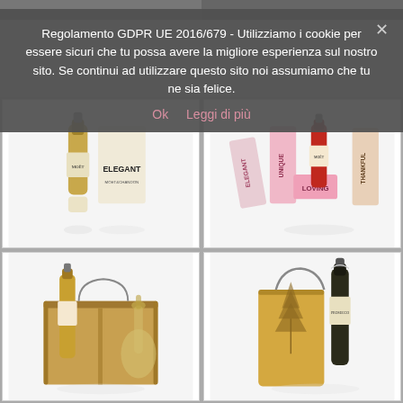Regolamento GDPR UE 2016/679 - Utilizziamo i cookie per essere sicuri che tu possa avere la migliore esperienza sul nostro sito. Se continui ad utilizzare questo sito noi assumiamo che tu ne sia felice.
Ok   Leggi di più
[Figure (photo): Moët & Chandon champagne bottle with white gift box labeled ELEGANT]
[Figure (photo): Collection of pink and white Moët & Chandon gift boxes labeled ELEGANT, UNIQUE, LOVING, THANKFUL with champagne bottles]
[Figure (photo): Wooden double wine box with two champagne bottles inside]
[Figure (photo): Wooden single wine bag with decorative tree engraving and dark champagne bottle]